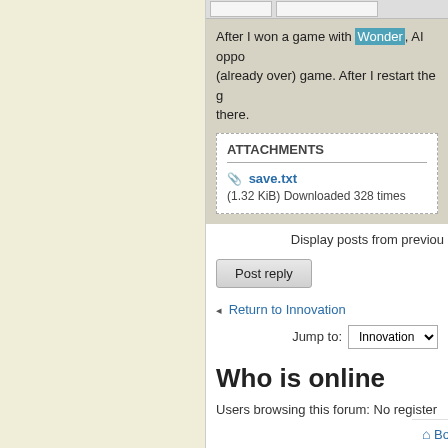After I won a game with Wonder, AI oppo (already over) game. After I restart the g there.
ATTACHMENTS
save.txt
(1.32 KiB) Downloaded 328 times
Display posts from previou
Post reply
Return to Innovation
Jump to: Innovation
Who is online
Users browsing this forum: No register
Board index   The te